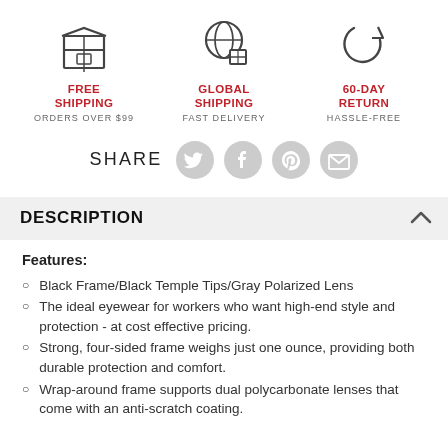[Figure (infographic): Three icons in a row: a shipping box (FREE SHIPPING, ORDERS OVER $99), a globe with a box (GLOBAL SHIPPING, FAST DELIVERY), and a circular arrows refresh icon (60-DAY RETURN, HASSLE-FREE)]
SHARE
[Figure (infographic): Four circular social media share icons: Twitter, Facebook, Pinterest, Email (envelope)]
DESCRIPTION
Features:
Black Frame/Black Temple Tips/Gray Polarized Lens
The ideal eyewear for workers who want high-end style and protection - at cost effective pricing.
Strong, four-sided frame weighs just one ounce, providing both durable protection and comfort.
Wrap-around frame supports dual polycarbonate lenses that come with an anti-scratch coating.